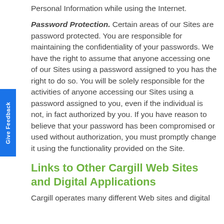Personal Information while using the Internet.
Password Protection. Certain areas of our Sites are password protected. You are responsible for maintaining the confidentiality of your passwords. We have the right to assume that anyone accessing one of our Sites using a password assigned to you has the right to do so. You will be solely responsible for the activities of anyone accessing our Sites using a password assigned to you, even if the individual is not, in fact authorized by you. If you have reason to believe that your password has been compromised or used without authorization, you must promptly change it using the functionality provided on the Site.
Links to Other Cargill Web Sites and Digital Applications
Cargill operates many different Web sites and digital